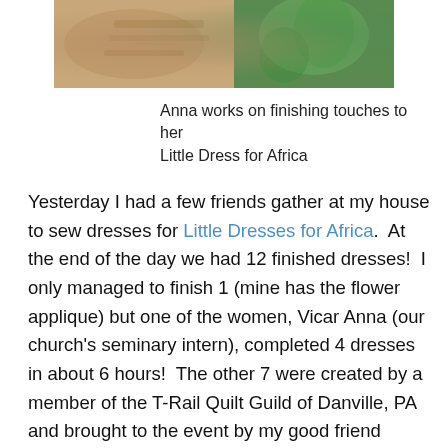[Figure (photo): Photo of Anna working on a Little Dress for Africa, sewing/crafting scene with fabric and materials visible]
Anna works on finishing touches to her Little Dress for Africa
Yesterday I had a few friends gather at my house to sew dresses for Little Dresses for Africa.  At the end of the day we had 12 finished dresses!  I only managed to finish 1 (mine has the flower applique) but one of the women, Vicar Anna (our church's seminary intern), completed 4 dresses in about 6 hours!  The other 7 were created by a member of the T-Rail Quilt Guild of Danville, PA and brought to the event by my good friend Janel, who has been coordinating and communicating this service project for the quilt guild.  Janel has also been making them at home and has about 15 started already.  It was so much fun to get back into sewing and for such an important